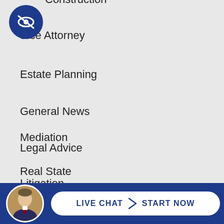Construction
Divorce Attorney
Estate Planning
General News
Legal Advice
Litigation
Mediation
Real State
Tax
[Figure (logo): Blue circle icon with crossed-out eye symbol (privacy/hidden icon)]
[Figure (photo): Circular avatar photo of a man in a suit]
LIVE CHAT | START NOW